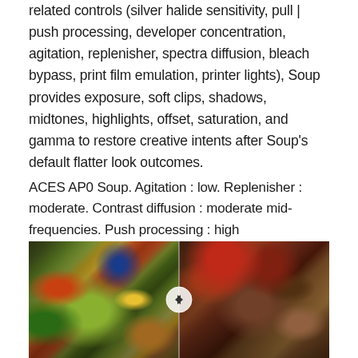related controls (silver halide sensitivity, pull | push processing, developer concentration, agitation, replenisher, spectra diffusion, bleach bypass, print film emulation, printer lights), Soup provides exposure, soft clips, shadows, midtones, highlights, offset, saturation, and gamma to restore creative intents after Soup's default flatter look outcomes.
ACES AP0 Soup. Agitation : low. Replenisher : moderate. Contrast diffusion : moderate mid-frequencies. Push processing : high
[Figure (photo): Split comparison photo of two food still-life scenes. Left side shows colorful vegetables, peppers, flowers, and produce with a blue bottle in the background. Right side shows fruits, wine glasses, spices, and a clock with warm amber/red tones. A circular split icon is visible at the center dividing the two images.]